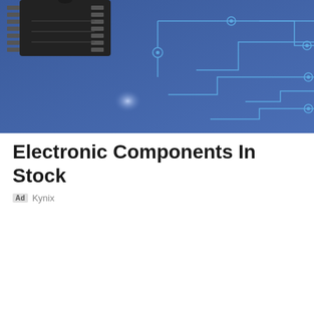[Figure (illustration): Banner image showing a blue circuit board background with glowing lines and nodes, and a black IC chip (DIP package) in the upper left corner.]
Electronic Components In Stock
Ad  Kynix